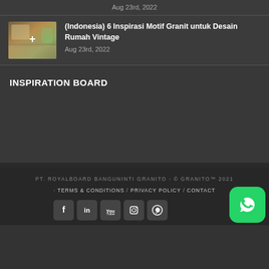Aug 23rd, 2022
[Figure (photo): Thumbnail image of a vintage home interior with granite flooring]
(Indonesia) 6 Inspirasi Motif Granit untuk Desain Rumah Vintage
Aug 23rd, 2022
INSPIRATION BOARD
PT. ROYALBOARD BANGUNINTI GRANITO - © GRANITO™ 2021
TERMS & CONDITIONS / PRIVACY POLICY / CONTACT